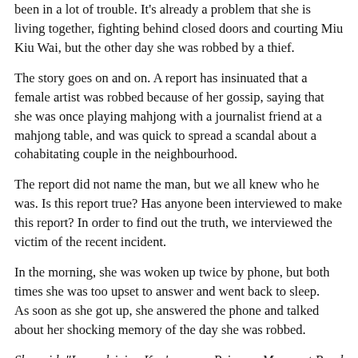been in a lot of trouble. It's already a problem that she is living together, fighting behind closed doors and courting Miu Kiu Wai, but the other day she was robbed by a thief.
The story goes on and on. A report has insinuated that a female artist was robbed because of her gossip, saying that she was once playing mahjong with a journalist friend at a mahjong table, and was quick to spread a scandal about a cohabitating couple in the neighbourhood.
The report did not name the man, but we all knew who he was. Is this report true? Has anyone been interviewed to make this report? In order to find out the truth, we interviewed the victim of the recent incident.
In the morning, she was woken up twice by phone, but both times she was too upset to answer and went back to sleep.
As soon as she got up, she answered the phone and talked about her shocking memory of the day she was robbed.
She said, "I was driving Ken's car on Princess Margaret Road back to Broadcast Drive and stopped at the traffic lights when I noticed two Japanese cars lined up with me. I thought they were trying to provoke me, so I deliberately slowed down and they followed me for a while and then disappeared. But when I got to Renfrew Road, I found the two Japanese cars waiting for me again." She described them in graphic detail. I thought, "It's three o'clock in the morning, where is the safest place to drive to? I couldn't go to Kowloon City or